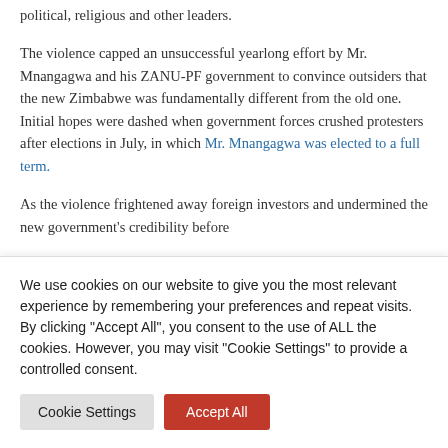political, religious and other leaders.
The violence capped an unsuccessful yearlong effort by Mr. Mnangagwa and his ZANU-PF government to convince outsiders that the new Zimbabwe was fundamentally different from the old one. Initial hopes were dashed when government forces crushed protesters after elections in July, in which Mr. Mnangagwa was elected to a full term.
As the violence frightened away foreign investors and undermined the new government's credibility before
We use cookies on our website to give you the most relevant experience by remembering your preferences and repeat visits. By clicking "Accept All", you consent to the use of ALL the cookies. However, you may visit "Cookie Settings" to provide a controlled consent.